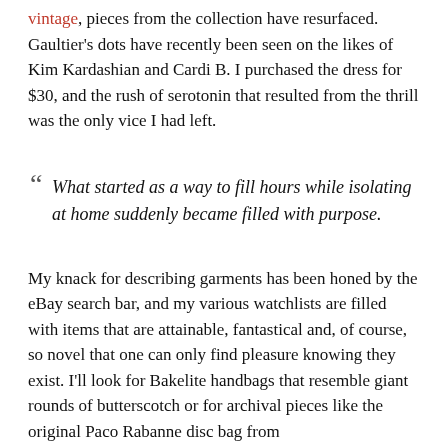vintage, pieces from the collection have resurfaced. Gaultier's dots have recently been seen on the likes of Kim Kardashian and Cardi B. I purchased the dress for $30, and the rush of serotonin that resulted from the thrill was the only vice I had left.
“ What started as a way to fill hours while isolating at home suddenly became filled with purpose.
My knack for describing garments has been honed by the eBay search bar, and my various watchlists are filled with items that are attainable, fantastical and, of course, so novel that one can only find pleasure knowing they exist. I'll look for Bakelite handbags that resemble giant rounds of butterscotch or for archival pieces like the original Paco Rabanne disc bag from